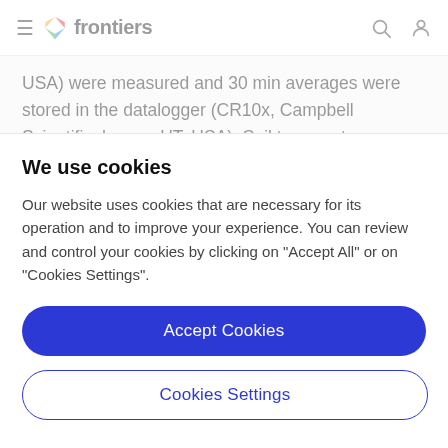frontiers
USA) were measured and 30 min averages were stored in the datalogger (CR10x, Campbell Scientific, Logan, UT, USA). Soil temperature (custom built pt-100 elements) in 5, 15, 30, and 60 cm depth was measured in vegetation and bare soil plots at both sites and 60 min averages were
We use cookies
Our website uses cookies that are necessary for its operation and to improve your experience. You can review and control your cookies by clicking on "Accept All" or on "Cookies Settings".
Accept Cookies
Cookies Settings